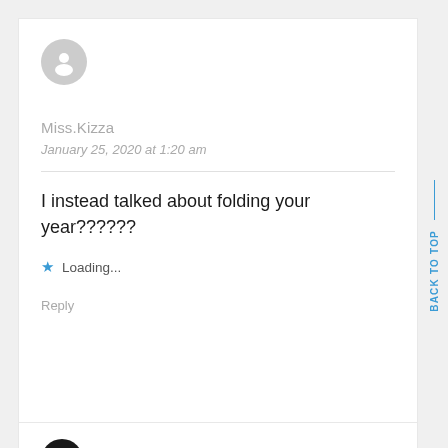[Figure (illustration): Gray circular avatar with silhouette of a person]
Miss.Kizza
January 25, 2020 at 1:20 am
I instead talked about folding your year??????
Loading...
Reply
[Figure (illustration): Dark circular avatar with sunglasses icon]